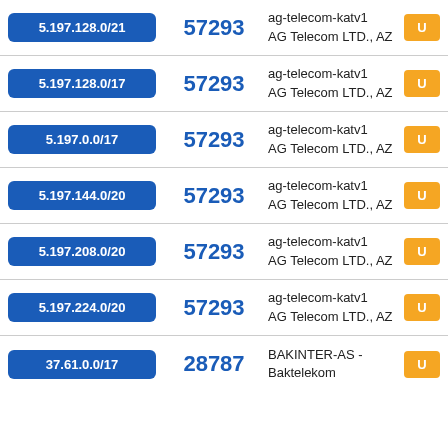| IP Range | ASN | Info | Tag |
| --- | --- | --- | --- |
| 5.197.128.0/21 | 57293 | ag-telecom-katv1
AG Telecom LTD., AZ | U |
| 5.197.128.0/17 | 57293 | ag-telecom-katv1
AG Telecom LTD., AZ | U |
| 5.197.0.0/17 | 57293 | ag-telecom-katv1
AG Telecom LTD., AZ | U |
| 5.197.144.0/20 | 57293 | ag-telecom-katv1
AG Telecom LTD., AZ | U |
| 5.197.208.0/20 | 57293 | ag-telecom-katv1
AG Telecom LTD., AZ | U |
| 5.197.224.0/20 | 57293 | ag-telecom-katv1
AG Telecom LTD., AZ | U |
| 37.61.0.0/17 | 28787 | BAKINTER-AS - Baktelekom | U |